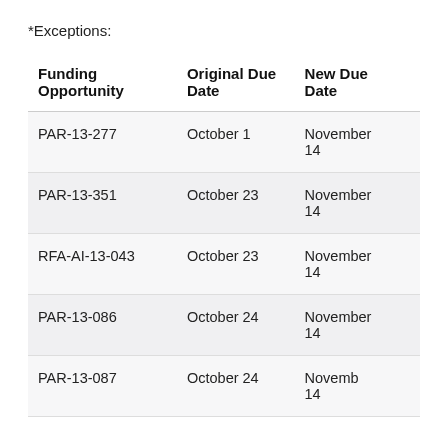*Exceptions:
| Funding Opportunity | Original Due Date | New Due Date |
| --- | --- | --- |
| PAR-13-277 | October 1 | November
14 |
| PAR-13-351 | October 23 | November
14 |
| RFA-AI-13-043 | October 23 | November
14 |
| PAR-13-086 | October 24 | November
14 |
| PAR-13-087 | October 24 | November
14 |